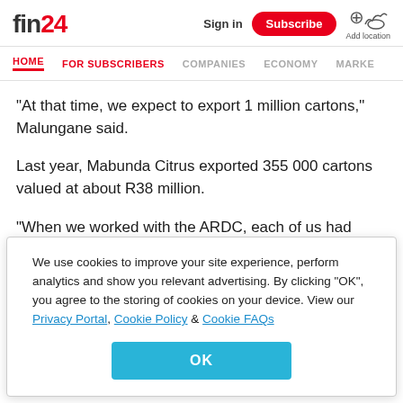fin24
HOME | FOR SUBSCRIBERS | COMPANIES | ECONOMY | MARKE
“At that time, we expect to export 1 million cartons,” Malungane said.
Last year, Mabunda Citrus exported 355 000 cartons valued at about R38 million.
“When we worked with the ARDC, each of us had 10ha.
We use cookies to improve your site experience, perform analytics and show you relevant advertising. By clicking "OK", you agree to the storing of cookies on your device. View our Privacy Portal, Cookie Policy & Cookie FAQs